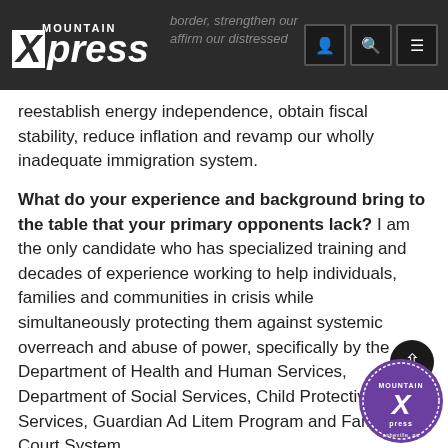Mountain Xpress
reestablish energy independence, obtain fiscal stability, reduce inflation and revamp our wholly inadequate immigration system.
What do your experience and background bring to the table that your primary opponents lack? I am the only candidate who has specialized training and decades of experience working to help individuals, families and communities in crisis while simultaneously protecting them against systemic overreach and abuse of power, specifically by the Department of Health and Human Services, Department of Social Services, Child Protective Services, Guardian Ad Litem Program and Family Court System.
What are the top three issues facing residents of Western North Carolina? The cost of housing compounded by inflation, low wages, high taxes and the free flow of drugs across our southern border.